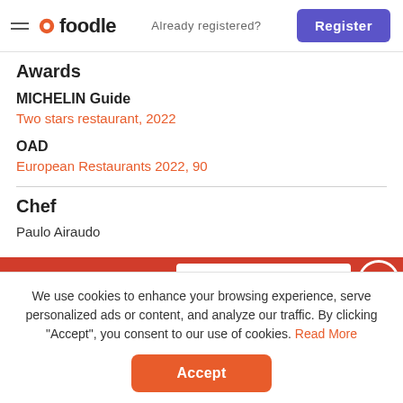foodle — Already registered? Register
Awards
MICHELIN Guide
Two stars restaurant, 2022
OAD
European Restaurants 2022, 90
Chef
Paulo Airaudo
Join Foodle Today!
We use cookies to enhance your browsing experience, serve personalized ads or content, and analyze our traffic. By clicking "Accept", you consent to our use of cookies. Read More
Accept